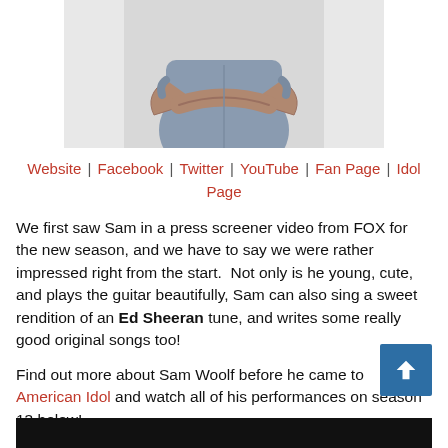[Figure (photo): Partial photo of a person with arms crossed wearing a grey shirt, cropped at the torso]
Website | Facebook | Twitter | YouTube | Fan Page | Idol Page
We first saw Sam in a press screener video from FOX for the new season, and we have to say we were rather impressed right from the start.  Not only is he young, cute, and plays the guitar beautifully, Sam can also sing a sweet rendition of an Ed Sheeran tune, and writes some really good original songs too!
Find out more about Sam Woolf before he came to American Idol and watch all of his performances on season 13 below!
Sam Woolf American Idol Performances
Road to Hollywood: